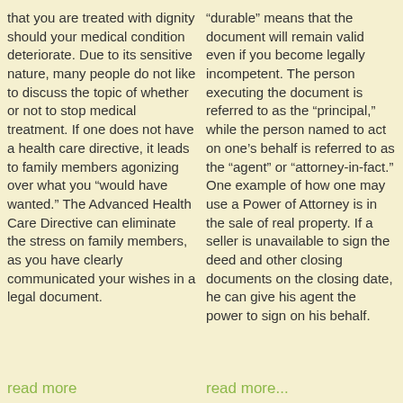that you are treated with dignity should your medical condition deteriorate. Due to its sensitive nature, many people do not like to discuss the topic of whether or not to stop medical treatment. If one does not have a health care directive, it leads to family members agonizing over what you “would have wanted.” The Advanced Health Care Directive can eliminate the stress on family members, as you have clearly communicated your wishes in a legal document.
“durable” means that the document will remain valid even if you become legally incompetent. The person executing the document is referred to as the “principal,” while the person named to act on one’s behalf is referred to as the “agent” or “attorney-in-fact.” One example of how one may use a Power of Attorney is in the sale of real property. If a seller is unavailable to sign the deed and other closing documents on the closing date, he can give his agent the power to sign on his behalf.
read more
read more...